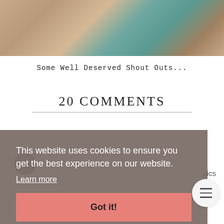[Figure (photo): Interior/furniture photo showing a wooden bench or rack with teal/turquoise fabric, colorful rug, and home decor items]
Some Well Deserved Shout Outs...
20 COMMENTS
This website uses cookies to ensure you get the best experience on our website.
Learn more
Got it!